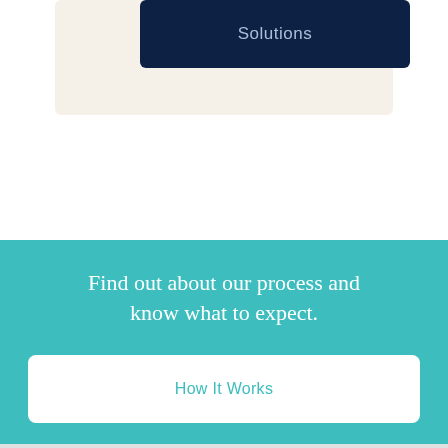Solutions
Find out about our process and know what to expect.
How It Works